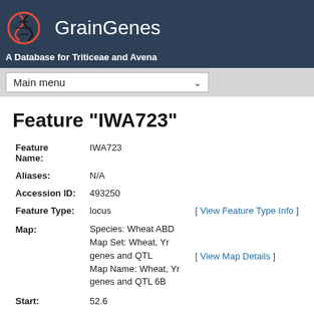GrainGenes — A Database for Triticeae and Avena
Feature "IWA723"
| Field | Value | Link |
| --- | --- | --- |
| Feature Name: | IWA723 |  |
| Aliases: | N/A |  |
| Accession ID: | 493250 |  |
| Feature Type: | locus | [ View Feature Type Info ] |
| Map: | Species: Wheat ABD
Map Set: Wheat, Yr genes and QTL
Map Name: Wheat, Yr genes and QTL 6B | [ View Map Details ] |
| Start: | 52.6 |  |
| Stop: | 52.6 |  |